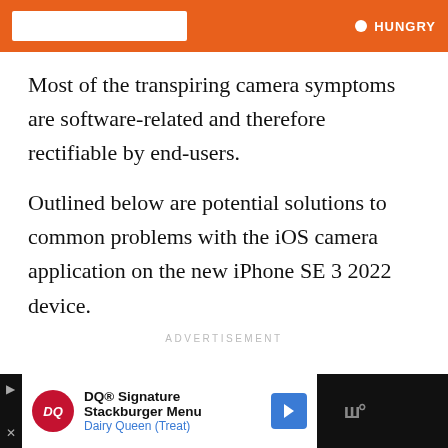[Figure (screenshot): Orange advertisement banner at top with white input box and HUNGRY button text]
Most of the transpiring camera symptoms are software-related and therefore rectifiable by end-users.
Outlined below are potential solutions to common problems with the iOS camera application on the new iPhone SE 3 2022 device.
ADVERTISEMENT
[Figure (screenshot): Dairy Queen advertisement banner: DQ® Signature Stackburger Menu, Dairy Queen (Treat)]